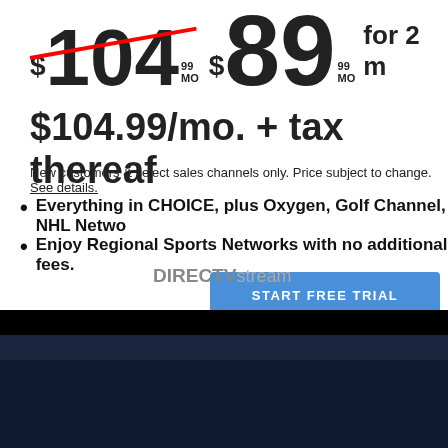$104 MO (strikethrough) $89 MO for 2 m
$104.99/mo. + tax thereaf
New customers & select sales channels only. Price subject to change. See details.
Everything in CHOICE, plus Oxygen, Golf Channel, NHL Netwo
Enjoy Regional Sports Networks with no additional fees.
START FREE TRIAL
DIRECTVstream
YOU WON'T MISS A THING
PREMIER